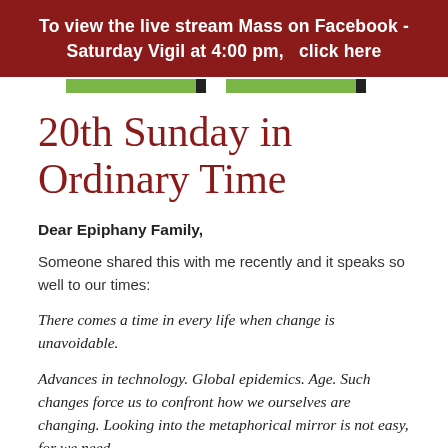To view the live stream Mass on Facebook - Saturday Vigil at 4:00 pm,   click here
20th Sunday in Ordinary Time
Dear Epiphany Family,
Someone shared this with me recently and it speaks so well to our times:
There comes a time in every life when change is unavoidable.
Advances in technology. Global epidemics. Age. Such changes force us to confront how we ourselves are changing. Looking into the metaphorical mirror is not easy, for we need